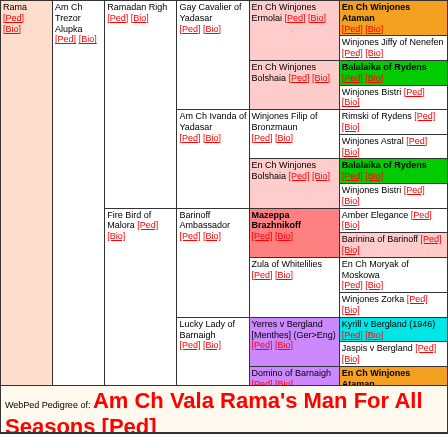| Col1 | Col2 | Col3 | Col4 | Col5 | Col6 |
| --- | --- | --- | --- | --- | --- |
| Rama [Ped] [Bio] | Am Ch Trezor Alupka [Ped] [Bio] | Ramadan Righ [Ped] [Bio] | Gay Cavalier of Yadasar [Ped] [Bio] | En Ch Winjones Ermolai [Ped] [Bio] | En Ch Winjones Ataman [Ped] [Bio] |
|  |  |  |  |  | Winjones Jiffy of Nenefen [Ped] [Bio] |
|  |  |  |  | En Ch Winjones Bolshaia [Ped] [Bio] | Balalaika of Rydens [Ped] [Bio] |
|  |  |  |  |  | Winjones Bistri [Ped] [Bio] |
|  |  |  | Am Ch Ivanda of Yadasar [Ped] [Bio] | Winjones Filip of Bronzmaun [Ped] [Bio] | Rimski of Rydens [Ped] [Bio] |
|  |  |  |  |  | Winjones Astral [Ped] [Bio] |
|  |  |  |  | En Ch Winjones Bolshaia [Ped] [Bio] | Balalaika of Rydens [Ped] [Bio] |
|  |  |  |  |  | Winjones Bistri [Ped] [Bio] |
|  |  | Fire Bird of Malora [Ped] [Bio] | Barinoff Ambassador [Ped] [Bio] | Mazeppa Brazhnikoff [Ped] [Bio] | Amber Elegance [Ped] [Bio] |
|  |  |  |  |  | Barinina of Barinoff [Ped] [Bio] |
|  |  |  |  | Zula of Whitelilies [Ped] [Bio] | En Ch Moryak of Moskowa [Ped] [Bio] |
|  |  |  |  |  | Winjones Zorka [Ped] [Bio] |
|  |  |  | Lucky Lady of Barnaigh [Ped] [Bio] | Yerres v Bergland [Menthes] (Ger>Eng) [Ped] [Bio] | Kyrill v Bergland (1946) [Ped] [Bio] |
|  |  |  |  |  | Jaspis v Bergland [Ped] [Bio] |
|  |  |  |  | Domino of Barnaigh [Ped] [Bio] | En Ch Winjones Ataman [Ped] [Bio] |
|  |  |  |  |  | Natasha of Barnaigh [Ped] [Bio] |
WebPed Pedigree of: Am Ch Vala Rama's Man For All Seasons [Ped] [Bio] Born: 5-1-1970 Color: wh mhgny (bdl)mkg Sex: male COI: 10.6023839%